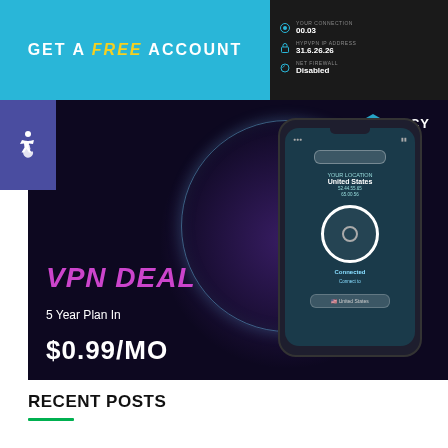[Figure (screenshot): Top banner: cyan/blue background with text 'GET A FREE ACCOUNT' in white with 'FREE' in yellow italic, and a dark panel on the right showing VPN connection info (IP 00.03, HYPVPN IP ADDRESS 31.5.26.26, NET FIREWALL Disabled)]
[Figure (illustration): Purple accessibility (wheelchair) icon on indigo/purple square background]
[Figure (photo): Ivacy VPN advertisement: dark background with purple glow effects and a hand holding a smartphone showing VPN app connected to United States. Text reads 'VPN DEAL' in purple italic, '5 Year Plan In', '$0.99/MO' in white. Ivacy logo with shield icon in top right.]
RECENT POSTS